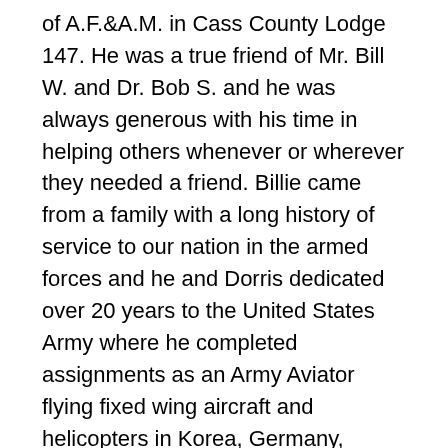of A.F.&A.M. in Cass County Lodge 147. He was a true friend of Mr. Bill W. and Dr. Bob S. and he was always generous with his time in helping others whenever or wherever they needed a friend. Billie came from a family with a long history of service to our nation in the armed forces and he and Dorris dedicated over 20 years to the United States Army where he completed assignments as an Army Aviator flying fixed wing aircraft and helicopters in Korea, Germany, Vietnam (2 combat tours) and a variety of stateside locations before they retired and settled in Lufkin, Texas. His military service was distinguished by decorations that include the Legion of Merit, Bronze Star with Oak Leaf Cluster, Air Medal with Valor Device, (20) Strike Flight Air Medals, Meritorious Service Medal with 2 Oak Leaf Clusters and various personal and unit citations. After the Army, Billie served in a management position at